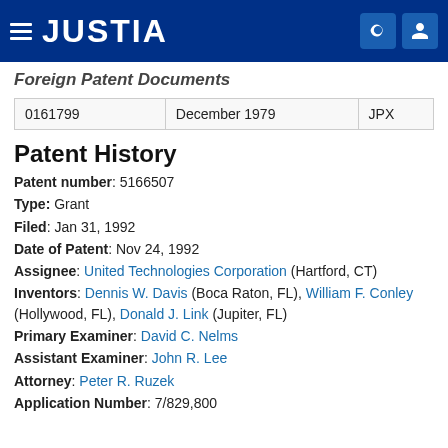JUSTIA
Foreign Patent Documents
| 0161799 | December 1979 | JPX |
Patent History
Patent number: 5166507
Type: Grant
Filed: Jan 31, 1992
Date of Patent: Nov 24, 1992
Assignee: United Technologies Corporation (Hartford, CT)
Inventors: Dennis W. Davis (Boca Raton, FL), William F. Conley (Hollywood, FL), Donald J. Link (Jupiter, FL)
Primary Examiner: David C. Nelms
Assistant Examiner: John R. Lee
Attorney: Peter R. Ruzek
Application Number: 7/829,800